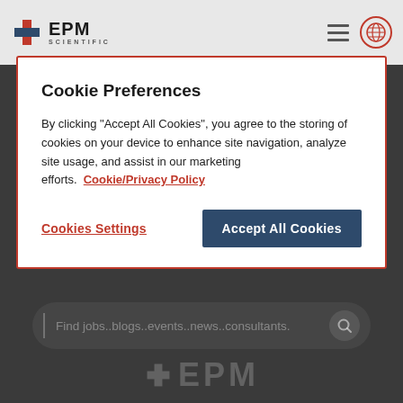[Figure (screenshot): EPM Scientific website navigation bar with logo, hamburger menu icon, and globe icon]
Cookie Preferences
By clicking "Accept All Cookies", you agree to the storing of cookies on your device to enhance site navigation, analyze site usage, and assist in our marketing efforts.  Cookie/Privacy Policy
Cookies Settings
Accept All Cookies
Find jobs..blogs..events..news..consultants.